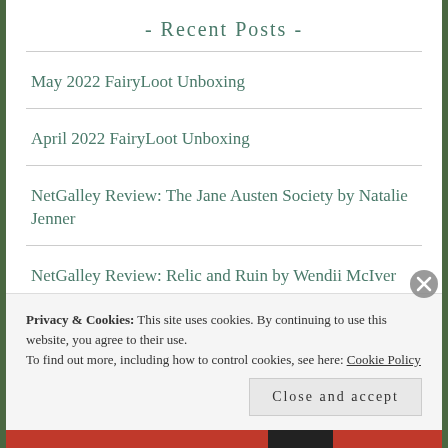- Recent Posts -
May 2022 FairyLoot Unboxing
April 2022 FairyLoot Unboxing
NetGalley Review: The Jane Austen Society by Natalie Jenner
NetGalley Review: Relic and Ruin by Wendii McIver
NetGalley Review: Slaying the Dragon: A Secret History of
Privacy & Cookies: This site uses cookies. By continuing to use this website, you agree to their use. To find out more, including how to control cookies, see here: Cookie Policy
Close and accept